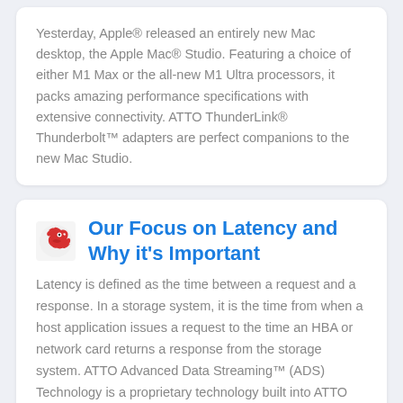Yesterday, Apple® released an entirely new Mac desktop, the Apple Mac® Studio. Featuring a choice of either M1 Max or the all-new M1 Ultra processors, it packs amazing performance specifications with extensive connectivity. ATTO ThunderLink® Thunderbolt™ adapters are perfect companions to the new Mac Studio.
[Figure (logo): Red and white bird/swoosh logo icon]
Our Focus on Latency and Why it's Important
Latency is defined as the time between a request and a response. In a storage system, it is the time from when a host application issues a request to the time an HBA or network card returns a response from the storage system. ATTO Advanced Data Streaming™ (ADS) Technology is a proprietary technology built into ATTO host